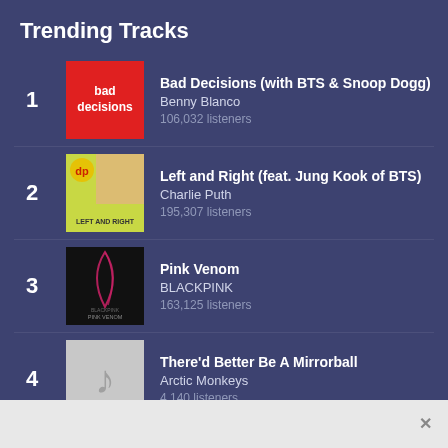Trending Tracks
1. Bad Decisions (with BTS & Snoop Dogg) — Benny Blanco — 106,032 listeners
2. Left and Right (feat. Jung Kook of BTS) — Charlie Puth — 195,307 listeners
3. Pink Venom — BLACKPINK — 163,125 listeners
4. There'd Better Be A Mirrorball — Arctic Monkeys — 4,140 listeners